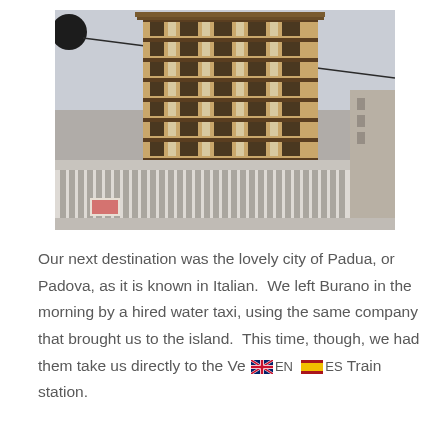[Figure (photo): A tall multi-story building with a brown/tan facade with horizontal window bands photographed from below, showing a modernist structure with a lower white colonnaded section. An overhead cable and dark pole/sphere visible at top-left. Gray overcast sky in background.]
Our next destination was the lovely city of Padua, or Padova, as it is known in Italian.  We left Burano in the morning by a hired water taxi, using the same company that brought us to the island.  This time, though, we had them take us directly to the Ve[flag EN][flag ES]Train station.